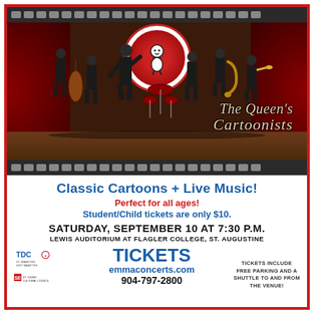[Figure (photo): The Queen's Cartoonists band posing on a stage with red curtains and a Looney Tunes style center circle backdrop, with film strip borders at top and bottom.]
Classic Cartoons + Live Music!
Perfect for all ages!
Student/Child tickets are only $10.
SATURDAY, SEPTEMBER 10 AT 7:30 P.M.
LEWIS AUDITORIUM AT FLAGLER COLLEGE, ST. AUGUSTINE
TICKETS
emmaconcerts.com
904-797-2800
TICKETS INCLUDE FREE PARKING AND A SHUTTLE TO AND FROM THE VENUE!